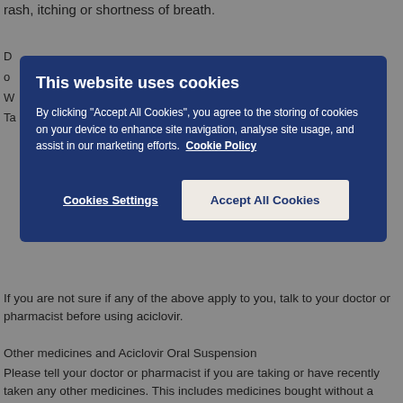rash, itching or shortness of breath.
D
o
W
Ta
[Figure (screenshot): Cookie consent modal overlay on a dark blue background. Title: 'This website uses cookies'. Body text: 'By clicking "Accept All Cookies", you agree to the storing of cookies on your device to enhance site navigation, analyse site usage, and assist in our marketing efforts. Cookie Policy'. Two buttons: 'Cookies Settings' (text link style) and 'Accept All Cookies' (filled button).]
If you are not sure if any of the above apply to you, talk to your doctor or pharmacist before using aciclovir.
Other medicines and Aciclovir Oral Suspension
Please tell your doctor or pharmacist if you are taking or have recently taken any other medicines. This includes medicines bought without a prescription, including herbal medicines.
In particular tell your doctor if you are taking any of the following medicines:
probenecid - used for gout
cimetidine - used for stomach acid